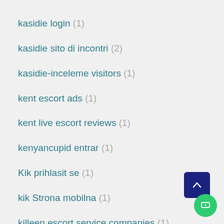kasidie login (1)
kasidie sito di incontri (2)
kasidie-inceleme visitors (1)
kent escort ads (1)
kent live escort reviews (1)
kenyancupid entrar (1)
Kik prihlasit se (1)
kik Strona mobilna (1)
killeen escort service companies (1)
killeen escort service near me (1)